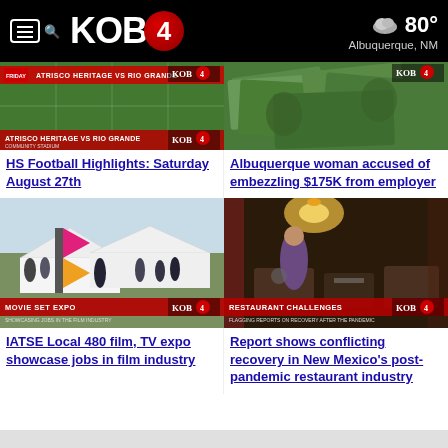KOB 4 — 80° Albuquerque, NM
[Figure (screenshot): KOB4 news thumbnail: HS Football Highlights with text 'ATRISCO HERITAGE VS RIO GRANDE']
HS Football Highlights: Saturday August 27th
[Figure (screenshot): KOB4 news thumbnail: Money/cash bills image for embezzlement story]
Albuquerque woman accused of embezzling $175K from employer
[Figure (screenshot): KOB4 news thumbnail: Outdoor expo scene with label 'MOVIE SET EXPO']
IATSE Local 480 film, TV expo showcase jobs in film industry
[Figure (screenshot): KOB4 news thumbnail: Restaurant interior scene with label 'RESTAURANT CHALLENGES']
Report shows conflicting recovery in New Mexico's post-pandemic restaurant industry